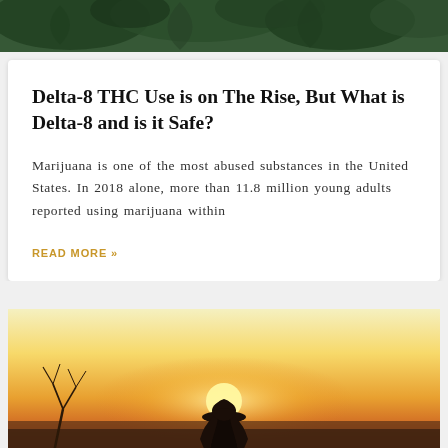[Figure (photo): Close-up of green cannabis/marijuana plant leaves from above, dark green background]
Delta-8 THC Use is on The Rise, But What is Delta-8 and is it Safe?
Marijuana is one of the most abused substances in the United States. In 2018 alone, more than 11.8 million young adults reported using marijuana within
READ MORE »
[Figure (photo): Person with long hair sitting at sunset, viewed from behind, silhouetted against an orange and yellow gradient sky with bare tree branches visible]